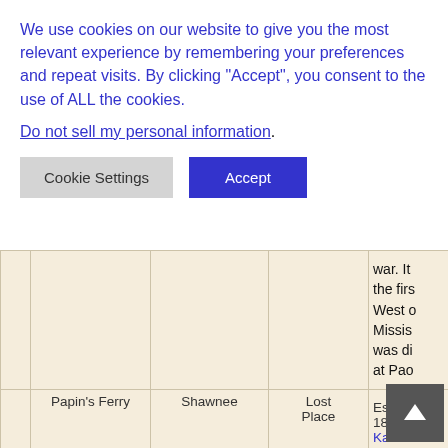We use cookies on our website to give you the most relevant experience by remembering your preferences and repeat visits. By clicking “Accept”, you consent to the use of ALL the cookies.
Do not sell my personal information.
Cookie Settings  Accept
|  |  |  | war. It
the firs
West o
Missis
was di
at Pao |
| Papin's Ferry | Shawnee | Lost
Place | Establ
1842 o
Kansa
Topeka
Kansa
Panin |